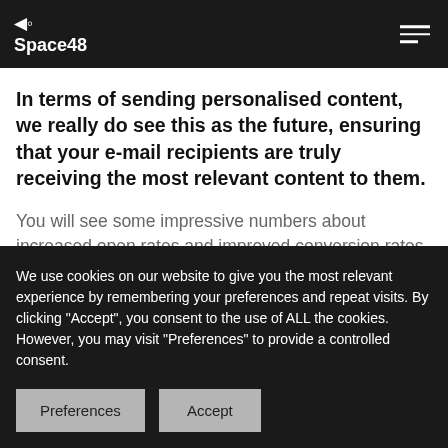Space48
In terms of sending personalised content, we really do see this as the future, ensuring that your e-mail recipients are truly receiving the most relevant content to them.
You will see some impressive numbers about increased open rates and improved conversion rates quoted and some of our clients have seen very positive
We use cookies on our website to give you the most relevant experience by remembering your preferences and repeat visits. By clicking "Accept", you consent to the use of ALL the cookies. However, you may visit "Preferences" to provide a controlled consent.